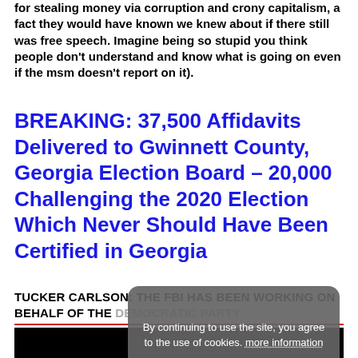for stealing money via corruption and crony capitalism, a fact they would have known we knew about if there still was free speech. Imagine being so stupid you think people don't understand and know what is going on even if the msm doesn't report on it).
BREAKING: 37,500 Affidavits Delivered to Gwinnett County, Georgia Election Board – 20,000 Challenging the 2020 Election Which Never Should Have Been Certified in Georgia
TUCKER CARLSON: THE FBI HAS BEEN WORKING ON BEHALF OF THE DEMOCRATIC PARTY
[Figure (screenshot): Cookie consent overlay on a dark grey rounded rectangle background with white text reading 'By continuing to use the site, you agree to the use of cookies. more information' and an Accept button below]
[Figure (photo): Black video thumbnail at the bottom of the page]